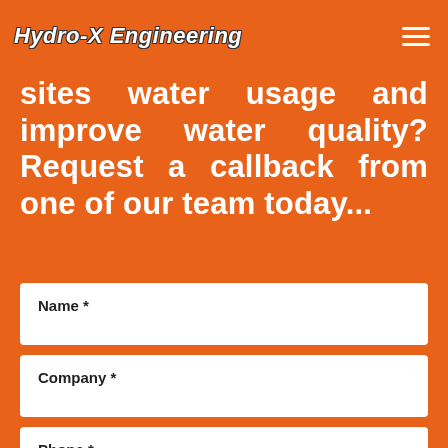Hydro-X Engineering
sites water usage and improve water quality? Request a callback from one of our team today...
Name *
Company *
Phone *
Email *